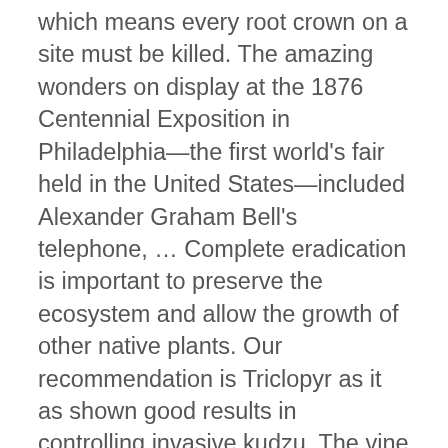which means every root crown on a site must be killed. The amazing wonders on display at the 1876 Centennial Exposition in Philadelphia—the first world's fair held in the United States—included Alexander Graham Bell's telephone, … Complete eradication is important to preserve the ecosystem and allow the growth of other native plants. Our recommendation is Triclopyr as it as shown good results in controlling invasive kudzu. The vine can grow up to 12 inches (30 cm.) A native of China and Japan, kudzu vine was introduced to the United States in 1876 during the Centennial Exposition that was held in Philadelphia to celebrate the nation's 100th birthday. The vines grow up and over almost any structure, including houses, and conceal from view entire buildings in unmonitored locations. Please be sure that when handling any type of herbicide, you are properly protecting your skin and